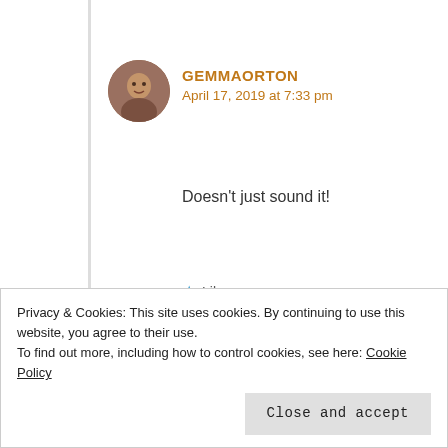GEMMAORTON
April 17, 2019 at 7:33 pm
Doesn't just sound it!
★ Like
Reply →
RITU
April 17, 2019 at 7:40 pm
Privacy & Cookies: This site uses cookies. By continuing to use this website, you agree to their use.
To find out more, including how to control cookies, see here: Cookie Policy
Close and accept